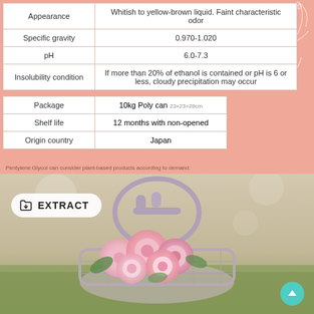| Property | Value |
| --- | --- |
| Appearance | Whitish to yellow-brown liquid. Faint characteristic odor |
| Specific gravity | 0.970-1.020 |
| pH | 6.0-7.3 |
| Insolubility condition | If more than 20% of ethanol is contained or pH is 6 or less, cloudy precipitation may occur |
| Package | 10kg Poly can 23×23×28cm |
| Shelf life | 12 months with non-opened |
| Origin country | Japan |
Pentylene Glycol can consider plant-based products according to demand.
[Figure (photo): Pink roses in a lavender wire basket on grass, with an EXTRACT badge overlay and a teal scroll-to-top button in the bottom right corner.]